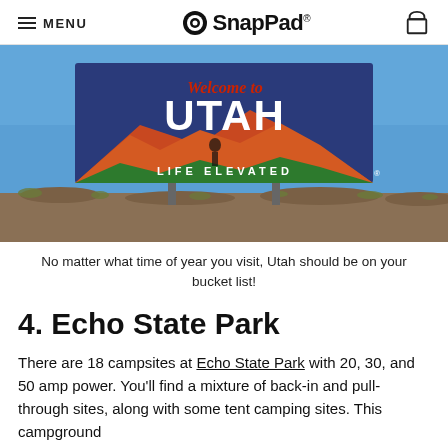MENU | SnapPad®
[Figure (photo): A 'Welcome to UTAH - Life Elevated' road sign against a blue sky with desert scrubland in the foreground]
No matter what time of year you visit, Utah should be on your bucket list!
4. Echo State Park
There are 18 campsites at Echo State Park with 20, 30, and 50 amp power. You'll find a mixture of back-in and pull-through sites, along with some tent camping sites. This campground...